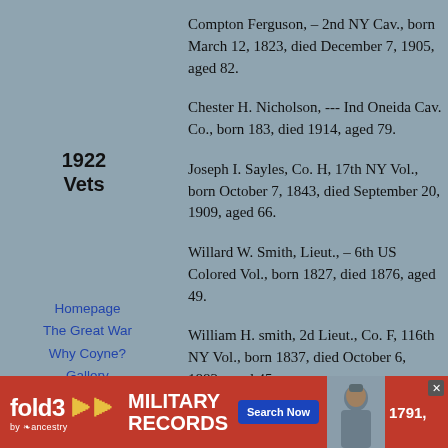Compton Ferguson, – 2nd NY Cav., born March 12, 1823, died December 7, 1905, aged 82.
1922 Vets
Chester H. Nicholson, --- Ind Oneida Cav. Co., born 183, died 1914, aged 79.
Homepage
The Great War
Why Coyne?
Gallery
Family Events
Family Tree
evolution & 1812
Links
Contact me
My Blog
Joseph I. Sayles, Co. H, 17th NY Vol., born October 7, 1843, died September 20, 1909, aged 66.
Willard W. Smith, Lieut., – 6th US Colored Vol., born 1827, died 1876, aged 49.
William H. smith, 2d Lieut., Co. F, 116th NY Vol., born 1837, died October 6, 1882, aged 45.
P. A. Wheeler, Capt., No. 3, 4th Iowa Vol., born 823, died January 8, 1908, aged 85.
[Figure (other): fold3 by Ancestry advertisement banner for Military Records with Search Now button and soldier photo]